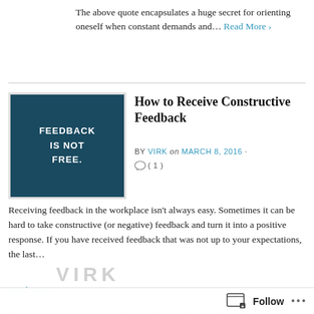The above quote encapsulates a huge secret for orienting oneself when constant demands and… Read More ›
How to Receive Constructive Feedback
BY VIRK on MARCH 8, 2016 · ( 1 )
[Figure (illustration): Dark teal square image with white bold uppercase text reading FEEDBACK IS NOT FREE.]
Receiving feedback in the workplace isn't always easy. Sometimes it can be hard to take constructive (or negative) feedback and turn it into a positive response. If you have received feedback that was not up to your expectations, the last…
Read More ›
A picture is worth a thousand words
BY VIRK on MARCH 22, 2015 · ( 0 )
[Figure (illustration): Light background image with large bold uppercase text reading LESS IS (more implied below)]
Follow